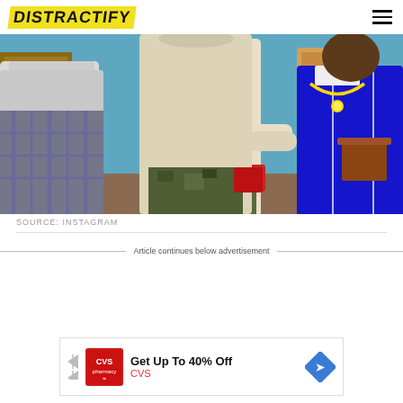DISTRACTIFY
[Figure (photo): Scene from a TV show with three people in a colorful living room. One person wears a white hoodie, another in camo pants, and a third in a royal blue track jacket with a gold chain necklace.]
SOURCE: INSTAGRAM
Article continues below advertisement
[Figure (other): CVS pharmacy advertisement: Get Up To 40% Off — CVS]